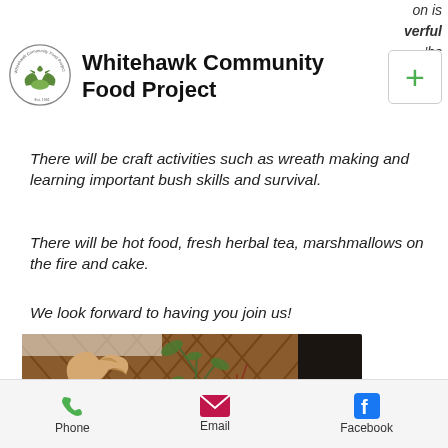on is verful 'bs
Whitehawk Community Food Project
There will be craft activities such as wreath making and learning important bush skills and survival.
There will be hot food, fresh herbal tea, marshmallows on the fire and cake.
We look forward to having you join us!
[Figure (photo): Photo of a wicker/lattice structure with a hawk or bird sculpture made of woven material, green leafy branches, against a dark background. A circular scroll-up button is visible in the lower right.]
Phone  Email  Facebook